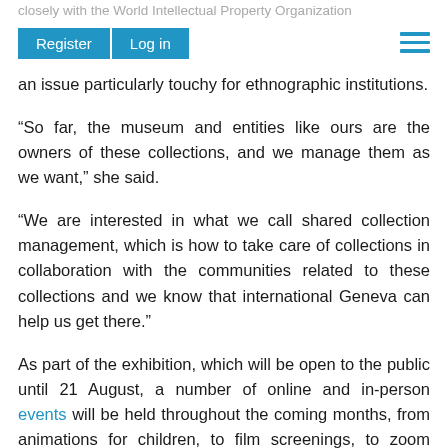closely with the World Intellectual Property Organization
an issue particularly touchy for ethnographic institutions.
“So far, the museum and entities like ours are the owners of these collections, and we manage them as we want,” she said.
“We are interested in what we call shared collection management, which is how to take care of collections in collaboration with the communities related to these collections and we know that international Geneva can help us get there.”
As part of the exhibition, which will be open to the public until 21 August, a number of online and in-person events will be held throughout the coming months, from animations for children, to film screenings, to zoom encounters with the artists, to a workshop to build one’s